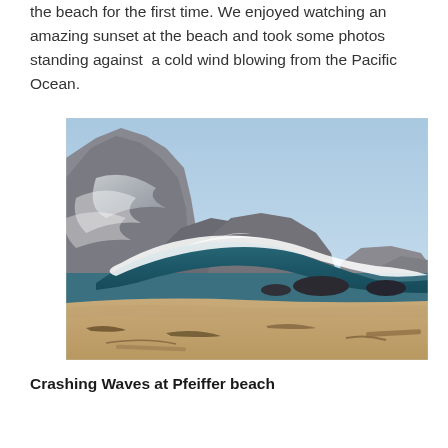the beach for the first time. We enjoyed watching an amazing sunset at the beach and took some photos standing against  a cold wind blowing from the Pacific Ocean.
[Figure (photo): Photograph of crashing ocean waves with large rocky cliffs in the background, sea spray visible, and sandy beach in the foreground. Blue sky above. Pfeiffer Beach, Pacific Ocean.]
Crashing Waves at Pfeiffer beach